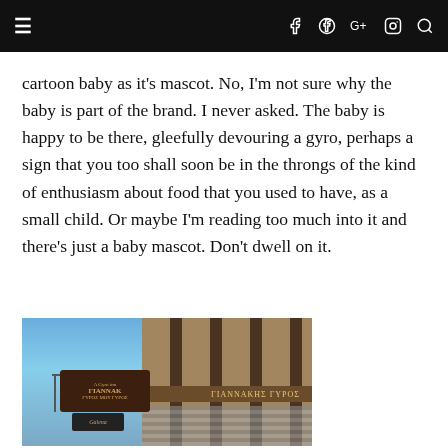≡  f  G+  ⊙  🔍
cartoon baby as it's mascot. No, I'm not sure why the baby is part of the brand. I never asked. The baby is happy to be there, gleefully devouring a gyro, perhaps a sign that you too shall soon be in the throngs of the kind of enthusiasm about food that you used to have, as a small child. Or maybe I'm reading too much into it and there's just a baby mascot. Don't dwell on it.
[Figure (photo): Street-level photo of a restaurant storefront with a dark brown wooden facade, decorative sign reading 'ΓΙΑΝΝΑΚΗΣ' or similar Greek text, awning with Greek lettering, and a smaller sign below. Blue sky in the background.]